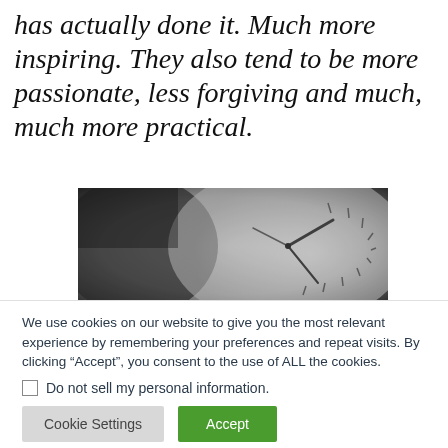has actually done it. Much more inspiring. They also tend to be more passionate, less forgiving and much, much more practical.
[Figure (photo): Black and white close-up photo of a clock face with hands and tick marks, blurred background]
We use cookies on our website to give you the most relevant experience by remembering your preferences and repeat visits. By clicking “Accept”, you consent to the use of ALL the cookies.
Do not sell my personal information.
Cookie Settings
Accept